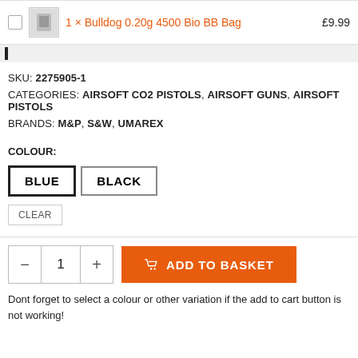1 × Bulldog 0.20g 4500 Bio BB Bag   £9.99
SKU: 2275905-1
CATEGORIES: AIRSOFT CO2 PISTOLS, AIRSOFT GUNS, AIRSOFT PISTOLS
BRANDS: M&P, S&W, UMAREX
COLOUR:
BLUE
BLACK
CLEAR
− 1 + ADD TO BASKET
Dont forget to select a colour or other variation if the add to cart button is not working!